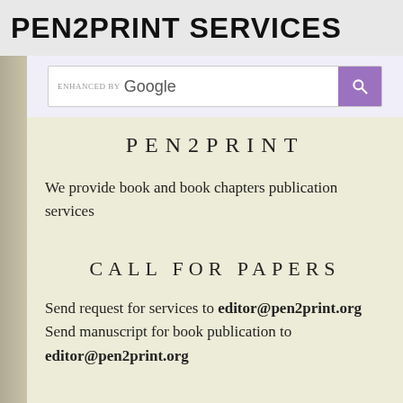PEN2PRINT SERVICES
[Figure (screenshot): Google search bar with purple search button showing 'ENHANCED BY Google' text]
PEN2PRINT
We provide book and book chapters publication services
CALL FOR PAPERS
Send request for services to editor@pen2print.org Send manuscript for book publication to editor@pen2print.org